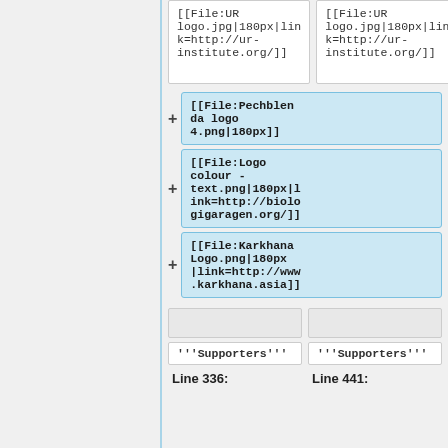[[File:URlogo.jpg|180px|link=http://ur-institute.org/]]
[[File:URlogo.jpg|180px|link=http://ur-institute.org/]]
[[File:Pechblenda logo 4.png|180px]]
[[File:Logo colour - text.png|180px|link=http://biologigaragen.org/]]
[[File:Karkhana Logo.png|180px|link=http://www.karkhana.asia]]
'''Supporters'''
'''Supporters'''
Line 336:
Line 441: